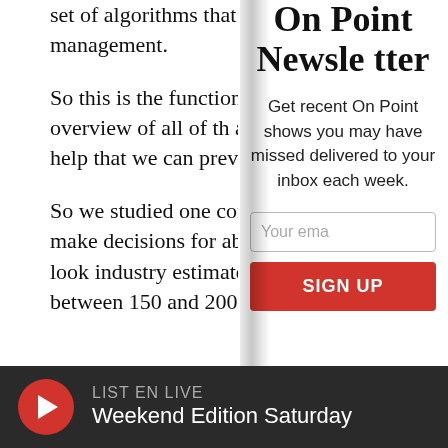set of algorithms that are used for whole population health management.
So this is the function of health systems — they try to get an overview of all of the patients and figure out which ones need help so that we can prevent deteriorations in health tomorrow.
So we studied one commercial product being used to make decisions for about 200 million people, every year. If you look at industry estimates, those algorithms are used for between 150 and 200 million
On Point Newsletter
Get recent On Point shows you may have missed delivered to your inbox each week.
Your ema
SIGN UP
LISTEN EN LIVE
Weekend Edition Saturday